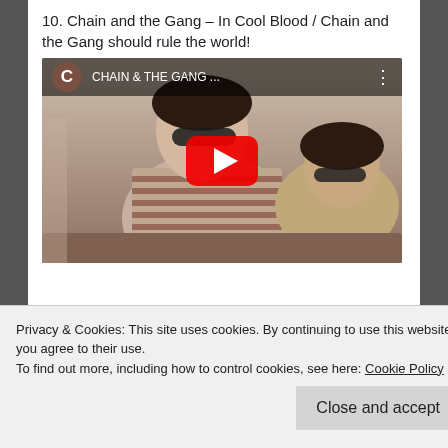10. Chain and the Gang – In Cool Blood / Chain and the Gang should rule the world!
[Figure (screenshot): YouTube video embed thumbnail showing two people sitting on a couch. The video header shows a brown 'C' avatar icon and the title 'CHAIN & THE GANG ...' with a three-dot menu icon. A large red YouTube play button is centered on the thumbnail.]
Privacy & Cookies: This site uses cookies. By continuing to use this website, you agree to their use.
To find out more, including how to control cookies, see here: Cookie Policy
Close and accept